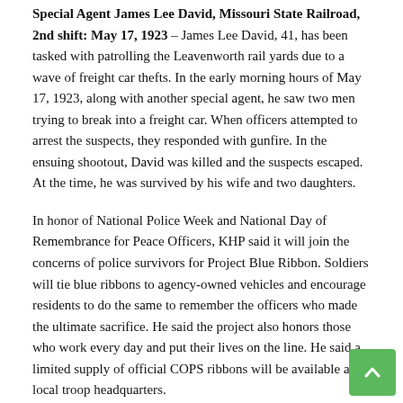Special Agent James Lee David, Missouri State Railroad, 2nd shift: May 17, 1923 – James Lee David, 41, has been tasked with patrolling the Leavenworth rail yards due to a wave of freight car thefts. In the early morning hours of May 17, 1923, along with another special agent, he saw two men trying to break into a freight car. When officers attempted to arrest the suspects, they responded with gunfire. In the ensuing shootout, David was killed and the suspects escaped. At the time, he was survived by his wife and two daughters.
In honor of National Police Week and National Day of Remembrance for Peace Officers, KHP said it will join the concerns of police survivors for Project Blue Ribbon. Soldiers will tie blue ribbons to agency-owned vehicles and encourage residents to do the same to remember the officers who made the ultimate sacrifice. He said the project also honors those who work every day and put their lives on the line. He said a limited supply of official COPS ribbons will be available at local troop headquarters.
In 2021, KHP noted that 458 officers were killed in the line of duty in the United States. As of April 19, 2022, he said 85 officers had been killed in the line of duty.